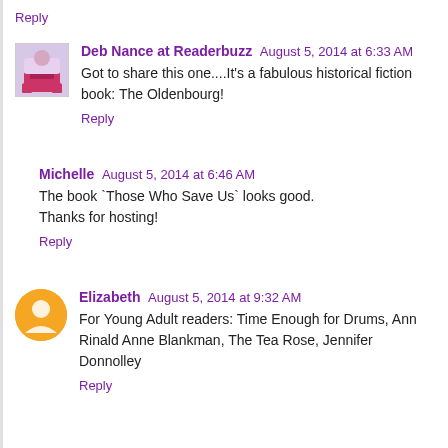Reply
Deb Nance at Readerbuzz   August 5, 2014 at 6:33 AM
Got to share this one....It's a fabulous historical fiction book: The Oldenbourg!
Reply
Michelle   August 5, 2014 at 6:46 AM
The book `Those Who Save Us` looks good.
Thanks for hosting!
Reply
Elizabeth   August 5, 2014 at 9:32 AM
For Young Adult readers: Time Enough for Drums, Ann Rinald Anne Blankman, The Tea Rose, Jennifer Donnolley
Reply